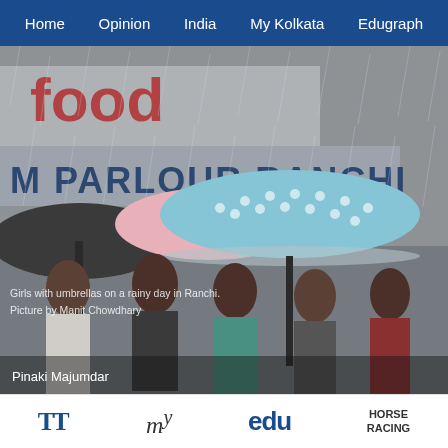Home  Opinion  India  My Kolkata  Edugraph
[Figure (photo): Girls with umbrellas on a rainy day in Ranchi. People including young women standing in rain under blue polka-dot and other umbrellas, with a sign reading 'M PARLOUR RANCHI' and 'FOOD' in the background. Photographer: Pinaki Majumdar. Watermark text: 'Girls with umbrellas on a rainy day in Ranchi. Picture by Manit Chowdhary']
Pinaki Majumdar
TT  my  edu  HORSE RACING